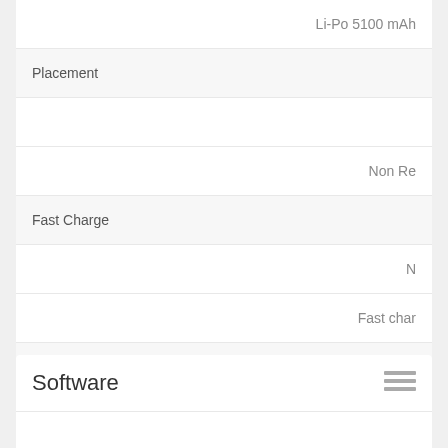| Feature | Value |
| --- | --- |
|  | Li-Po 5100 mAh |
| Placement |  |
|  | Non Re... |
| Fast Charge |  |
|  | N... |
|  | Fast char... |
| Wireless Charging |  |
|  | Fast wireless ch... |
Software